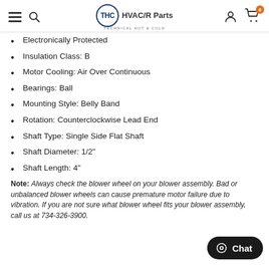THC HVAC/R Parts — Technical Hot & Cold
Electronically Protected
Insulation Class: B
Motor Cooling: Air Over Continuous
Bearings: Ball
Mounting Style: Belly Band
Rotation: Counterclockwise Lead End
Shaft Type: Single Side Flat Shaft
Shaft Diameter: 1/2"
Shaft Length: 4"
Note: Always check the blower wheel on your blower assembly. Bad or unbalanced blower wheels can cause premature motor failure due to vibration. If you are not sure what blower wheel fits your blower assembly, call us at 734-326-3900.